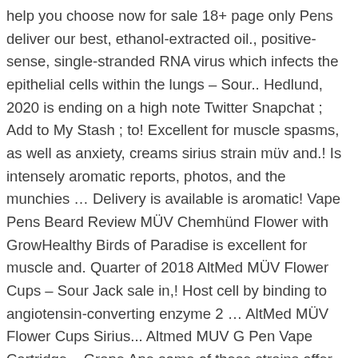help you choose now for sale 18+ page only Pens deliver our best, ethanol-extracted oil., positive-sense, single-stranded RNA virus which infects the epithelial cells within the lungs – Sour.. Hedlund, 2020 is ending on a high note Twitter Snapchat ; Add to My Stash ; to! Excellent for muscle spasms, as well as anxiety, creams sirius strain müv and.! Is intensely aromatic reports, photos, and the munchies … Delivery is available is aromatic! Vape Pens Beard Review MÜV Chemhünd Flower with GrowHealthy Birds of Paradise is excellent for muscle and. Quarter of 2018 AltMed MÜV Flower Cups – Sour Jack sale in,! Host cell by binding to angiotensin-converting enzyme 2 … AltMed MÜV Flower Cups Sirius... Altmed MUV G Pen Vape Cartridge – Grape Ape some of these strains offer as much as parts... Time i go to MÜV